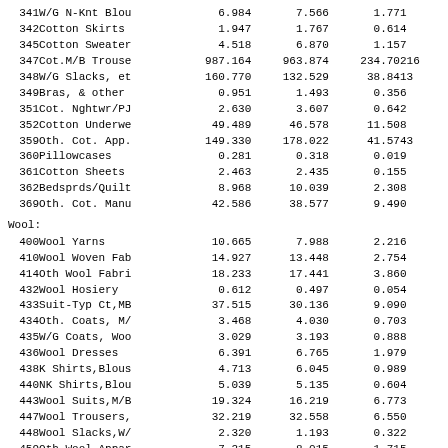| Code | Description | Col1 | Col2 | Col3 | Col4 |
| --- | --- | --- | --- | --- | --- |
| 341 | W/G N-Knt Blou | 6.984 | 7.566 | 1.771 |  |
| 342 | Cotton Skirts | 1.947 | 1.767 | 0.614 |  |
| 345 | Cotton Sweater | 4.518 | 6.870 | 1.157 |  |
| 347 | Cot.M/B Trouse | 987.164 | 963.874 | 234.702 | 16 |
| 348 | W/G Slacks, et | 160.770 | 132.529 | 38.841 | 3 |
| 349 | Bras, & other | 0.951 | 1.493 | 0.356 |  |
| 351 | Cot. Nghtwr/PJ | 2.630 | 3.607 | 0.642 |  |
| 352 | Cotton Underwe | 49.489 | 46.578 | 11.508 |  |
| 359 | Oth. Cot. App. | 149.330 | 178.022 | 41.574 | 3 |
| 360 | Pillowcases | 0.281 | 0.318 | 0.019 |  |
| 361 | Cotton Sheets | 2.463 | 2.435 | 0.155 |  |
| 362 | Bedsprds/Quilt | 8.968 | 10.039 | 2.308 |  |
| 369 | Oth. Cot. Manu | 42.586 | 38.577 | 9.490 |  |
Wool:
| Code | Description | Col1 | Col2 | Col3 | Col4 |
| --- | --- | --- | --- | --- | --- |
| 400 | Wool Yarns | 10.665 | 7.988 | 2.216 |  |
| 410 | Wool Woven Fab | 14.927 | 13.448 | 2.754 |  |
| 414 | Oth Wool Fabri | 18.233 | 17.441 | 3.860 |  |
| 432 | Wool Hosiery | 0.612 | 0.497 | 0.054 |  |
| 433 | Suit-Typ Ct,MB | 37.515 | 30.136 | 9.090 |  |
| 434 | Oth. Coats, M/ | 3.468 | 4.030 | 0.703 |  |
| 435 | W/G Coats, Woo | 3.029 | 3.193 | 0.888 |  |
| 436 | Wool Dresses | 6.391 | 6.765 | 1.979 |  |
| 438 | K Shirts,Blous | 4.713 | 6.045 | 0.989 |  |
| 440 | NK Shirts,Blou | 5.039 | 5.135 | 0.604 |  |
| 443 | Wool Suits,M/B | 19.324 | 16.219 | 6.773 |  |
| 447 | Wool Trousers, | 32.219 | 32.558 | 6.550 |  |
| 448 | Wool Slacks,W/ | 2.320 | 1.193 | 0.322 |  |
| 459 | Oth.Wool Appar | 7.215 | 8.015 | 1.715 |  |
| 469 | Oth. Wool Manu | 0.700 | 0.325 | 0.090 |  |